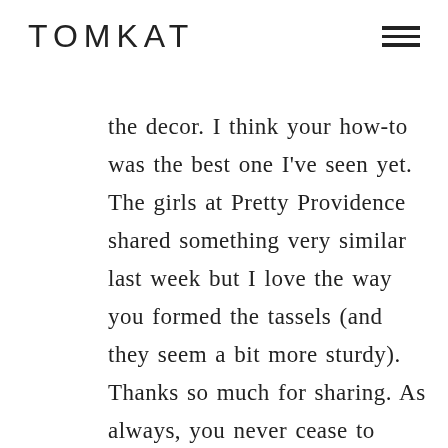TOMKAT
the decor. I think your how-to was the best one I've seen yet. The girls at Pretty Providence shared something very similar last week but I love the way you formed the tassels (and they seem a bit more sturdy). Thanks so much for sharing. As always, you never cease to amaze me 🙂